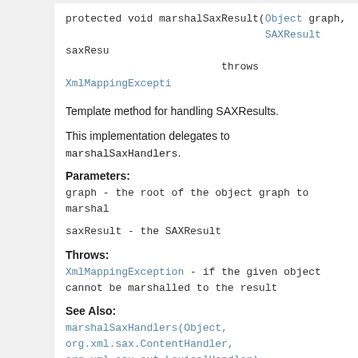protected void marshalSaxResult(Object graph,
                                SAXResult saxResult)
                         throws XmlMappingException
Template method for handling SAXResults.
This implementation delegates to marshalSaxHandlers.
Parameters:
graph - the root of the object graph to marshal
saxResult - the SAXResult
Throws:
XmlMappingException - if the given object cannot be marshalled to the result
See Also:
marshalSaxHandlers(Object, org.xml.sax.ContentHandler, org.xml.sax.ext.LexicalHandler)